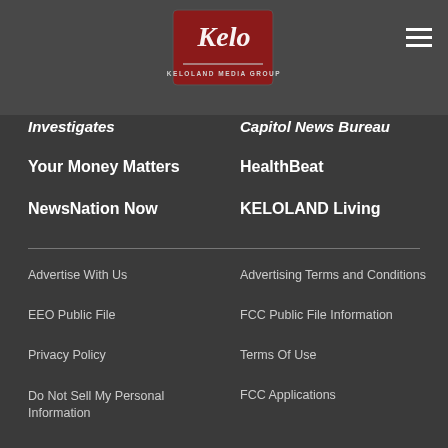[Figure (logo): KELO Keloland Media Group logo — red and dark background with stylized white script text]
Investigates
Capitol News Bureau
Your Money Matters
HealthBeat
NewsNation Now
KELOLAND Living
Advertise With Us
Advertising Terms and Conditions
EEO Public File
FCC Public File Information
Privacy Policy
Terms Of Use
Do Not Sell My Personal Information
FCC Applications